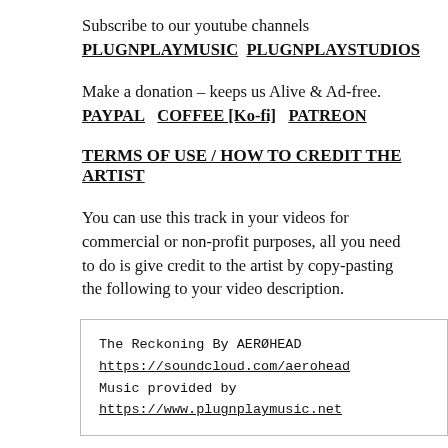Subscribe to our youtube channels PLUGNPLAYMUSIC  PLUGNPLAYSTUDIOS
Make a donation – keeps us Alive & Ad-free. PAYPAL   COFFEE [Ko-fi]   PATREON
TERMS OF USE / HOW TO CREDIT THE ARTIST
You can use this track in your videos for commercial or non-profit purposes, all you need to do is give credit to the artist by copy-pasting the following to your video description.
The Reckoning By AEROHEAD
https://soundcloud.com/aerohead
Music provided by
https://www.plugnplaymusic.net